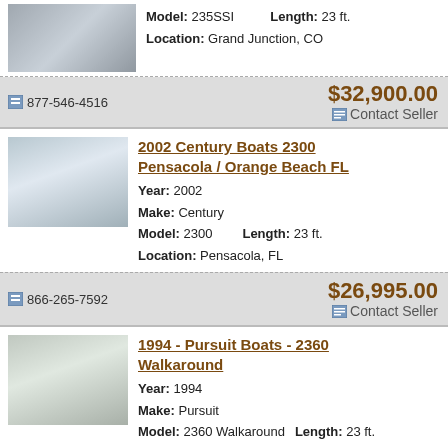Model: 235SSI   Length: 23 ft.
Location: Grand Junction, CO
877-546-4516   $32,900.00   Contact Seller
2002 Century Boats 2300 Pensacola / Orange Beach FL
Year: 2002
Make: Century
Model: 2300   Length: 23 ft.
Location: Pensacola, FL
866-265-7592   $26,995.00   Contact Seller
1994 - Pursuit Boats - 2360 Walkaround
Year: 1994
Make: Pursuit
Model: 2360 Walkaround   Length: 23 ft.
Location: Moorhead City, NC
In Stock   $7,400.00   866-339-5254   Contact Seller
2004 - Key West Boats - 2300